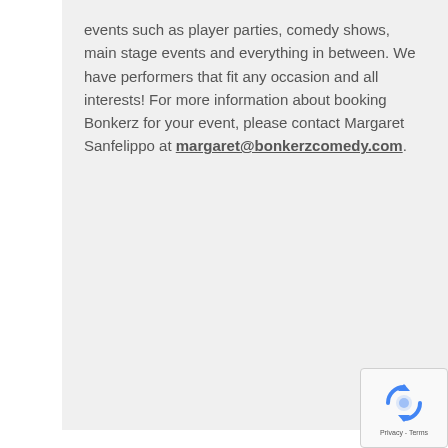events such as player parties, comedy shows, main stage events and everything in between. We have performers that fit any occasion and all interests! For more information about booking Bonkerz for your event, please contact Margaret Sanfelippo at margaret@bonkerzcomedy.com.
[Figure (logo): Google reCAPTCHA badge with recycling-style arrow icon and 'Privacy - Terms' text]